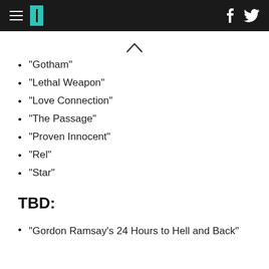HuffPost navigation bar with logo and social icons
“Gotham”
“Lethal Weapon”
“Love Connection”
“The Passage”
“Proven Innocent”
“Rel”
“Star”
TBD:
“Gordon Ramsay’s 24 Hours to Hell and Back”